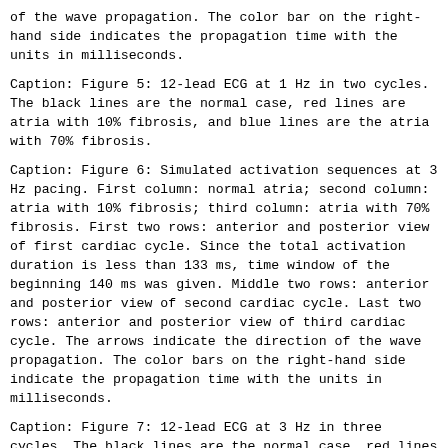of the wave propagation. The color bar on the right-hand side indicates the propagation time with the units in milliseconds.
Caption: Figure 5: 12-lead ECG at 1 Hz in two cycles. The black lines are the normal case, red lines are atria with 10% fibrosis, and blue lines are the atria with 70% fibrosis.
Caption: Figure 6: Simulated activation sequences at 3 Hz pacing. First column: normal atria; second column: atria with 10% fibrosis; third column: atria with 70% fibrosis. First two rows: anterior and posterior view of first cardiac cycle. Since the total activation duration is less than 133 ms, time window of the beginning 140 ms was given. Middle two rows: anterior and posterior view of second cardiac cycle. Last two rows: anterior and posterior view of third cardiac cycle. The arrows indicate the direction of the wave propagation. The color bars on the right-hand side indicate the propagation time with the units in milliseconds.
Caption: Figure 7: 12-lead ECG at 3 Hz in three cycles. The black lines are the normal case, red lines are atria with 10% fibrosis, and blue lines are the atria with 70% fibrosis.
Table 1: Characteristics for an atrial myocyte [G.sub.gap] of 3 nS for 1 Hz pacing.
| #FB | [V.sub.rest] (mV) | [V.sub.max] (mV) | A |
| --- | --- | --- | --- |
| 0 | -81.2 | 24.4 |  |
| 1 | -79.6 | 23.2 |  |
| 4 | -74.1 | 18.1 |  |